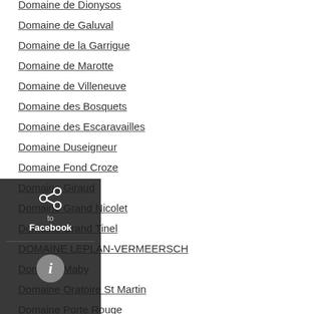Domaine de Dionysos
Domaine de Galuval
Domaine de la Garrigue
Domaine de Marotte
Domaine de Villeneuve
Domaine des Bosquets
Domaine des Escaravailles
Domaine Duseigneur
Domaine Fond Croze
Domaine Giraud
Domaine Grand Nicolet
Domaine Grand Tinel
DOMAINE LEPLAN-VERMEERSCH
Domaine Maby
Domaine Oratoire St Martin
Domaine Porte Rouge
Domaine Saint Prefert
Domaine St Damien
DUPERE BARRERA